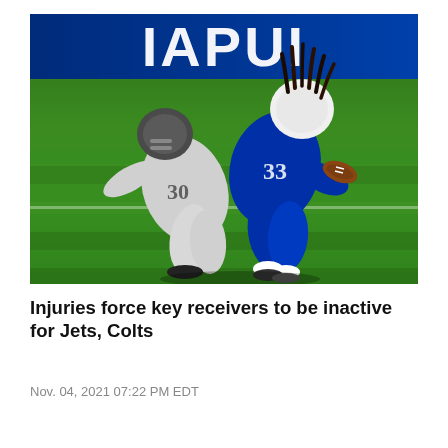[Figure (photo): NFL football action photo: an Indianapolis Colts player in blue uniform carrying the ball being tackled by a Tennessee Titans player in white uniform on a green grass field, with a blue stadium banner reading 'IAPUI' (Lucas Oil Stadium) visible in background.]
Injuries force key receivers to be inactive for Jets, Colts
Nov. 04, 2021 07:22 PM EDT